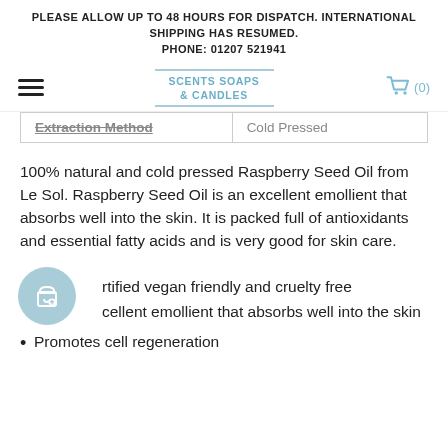PLEASE ALLOW UP TO 48 HOURS FOR DISPATCH. INTERNATIONAL SHIPPING HAS RESUMED.
PHONE: 01207 521941
[Figure (logo): Scents Soaps & Candles logo with light blue border lines]
| Extraction Method | Cold Pressed |
100% natural and cold pressed Raspberry Seed Oil from Le Sol. Raspberry Seed Oil is an excellent emollient that absorbs well into the skin. It is packed full of antioxidants and essential fatty acids and is very good for skin care.
rtified vegan friendly and cruelty free
cellent emollient that absorbs well into the skin
Promotes cell regeneration